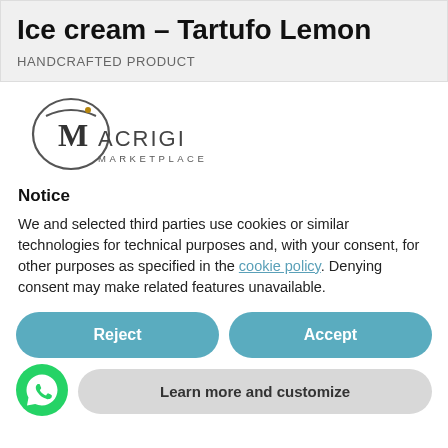Ice cream – Tartufo Lemon
HANDCRAFTED PRODUCT
[Figure (logo): Macrigi Marketplace logo with stylized M and circular design]
Notice
We and selected third parties use cookies or similar technologies for technical purposes and, with your consent, for other purposes as specified in the cookie policy. Denying consent may make related features unavailable.
Reject
Accept
Learn more and customize